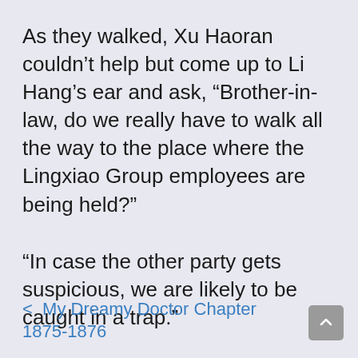As they walked, Xu Haoran couldn't help but come up to Li Hang's ear and ask, “Brother-in-law, do we really have to walk all the way to the place where the Lingxiao Group employees are being held?”
“In case the other party gets suspicious, we are likely to be caught in a trap.”
< My Dreamy Doctor Chapter 1875-1876